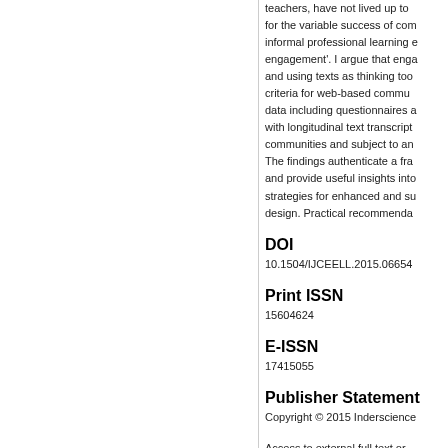teachers, have not lived up to for the variable success of com informal professional learning e engagement'. I argue that enga and using texts as thinking too criteria for web-based commu data including questionnaires a with longitudinal text transcript communities and subject to an The findings authenticate a fra and provide useful insights into strategies for enhanced and su design. Practical recommenda
DOI
10.1504/IJCEELL.2015.06654
Print ISSN
15604624
E-ISSN
17415055
Publisher Statement
Copyright © 2015 Inderscience
Access to external full text or